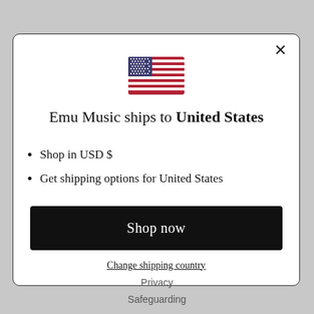[Figure (illustration): US flag emoji/icon centered in modal dialog]
Emu Music ships to United States
Shop in USD $
Get shipping options for United States
Shop now
Change shipping country
Privacy
Safeguarding